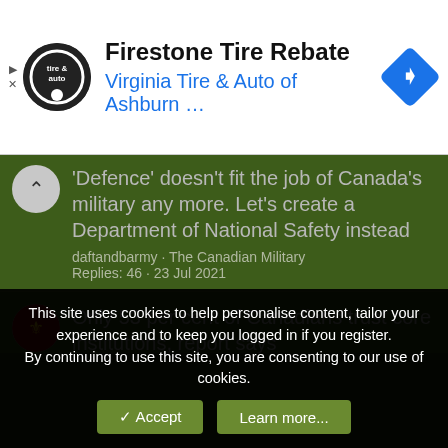[Figure (screenshot): Advertisement banner: Firestone Tire Rebate at Virginia Tire & Auto of Ashburn with logo and navigation icon]
'Defence' doesn't fit the job of Canada's military any more. Let's create a Department of National Safety instead
daftandbarmy · The Canadian Military
Replies: 46 · 23 Jul 2021
Only 53 per cent of Canadians trust core institutions, report says
OceanBonfire · Polls & Surveys
Replies: 2 · 20 Jan 2020
This site uses cookies to help personalise content, tailor your experience and to keep you logged in if you register.
By continuing to use this site, you are consenting to our use of cookies.